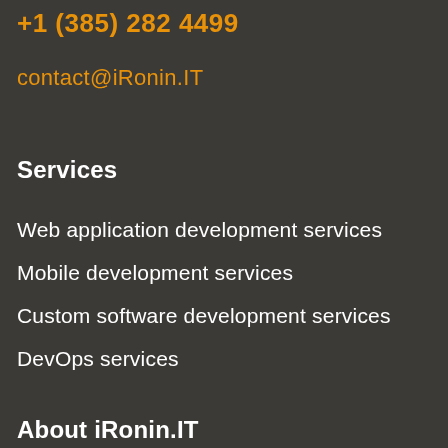+1 (385) 282 4499
contact@iRonin.IT
Services
Web application development services
Mobile development services
Custom software development services
DevOps services
About iRonin.IT